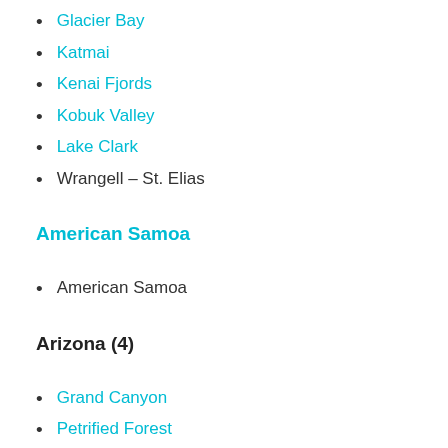Glacier Bay
Katmai
Kenai Fjords
Kobuk Valley
Lake Clark
Wrangell – St. Elias
American Samoa
American Samoa
Arizona (4)
Grand Canyon
Petrified Forest
Saguaro
Organ Pipe Cactus